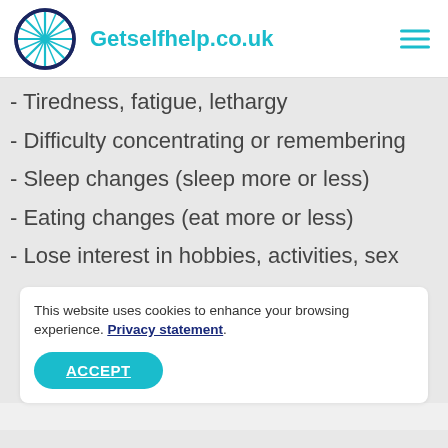Getselfhelp.co.uk
- Tiredness, fatigue, lethargy
- Difficulty concentrating or remembering
- Sleep changes (sleep more or less)
- Eating changes (eat more or less)
- Lose interest in hobbies, activities, sex
This website uses cookies to enhance your browsing experience. Privacy statement. ACCEPT